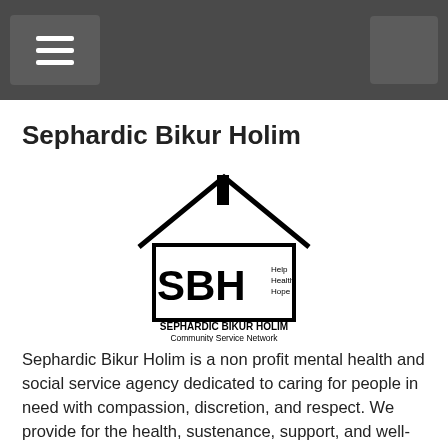Navigation bar with hamburger menu button and right button
Sephardic Bikur Holim
[Figure (logo): SBH Sephardic Bikur Holim Community Service Network logo — house outline with SBH letters and taglines Help Health Hope]
Sephardic Bikur Holim is a non profit mental health and social service agency dedicated to caring for people in need with compassion, discretion, and respect. We provide for the health, sustenance, support, and well-being of children and adults, the infirm and the disadvantaged through an ever-expanding spectrum of services, programs and resources.
We work hand-in-hand with a network of devoted volunteers and professionals to address all needs, while maintaining a strong commitment to excellence. At Sephardic Bikur Holim our goal is to